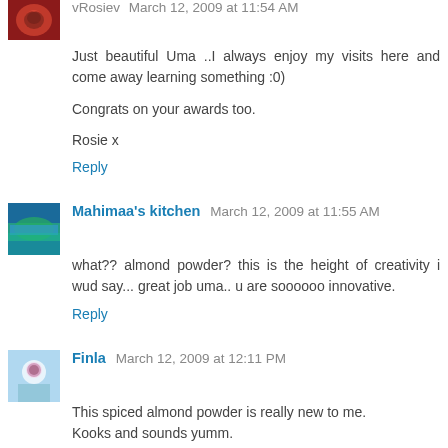vRosiev March 12, 2009 at 11:54 AM
Just beautiful Uma ..I always enjoy my visits here and come away learning something :0)

Congrats on your awards too.

Rosie x
Reply
Mahimaa's kitchen  March 12, 2009 at 11:55 AM
what?? almond powder? this is the height of creativity i wud say... great job uma.. u are soooooo innovative.
Reply
Finla  March 12, 2009 at 12:11 PM
This spiced almond powder is really new to me.
Kooks and sounds yumm.
Reply